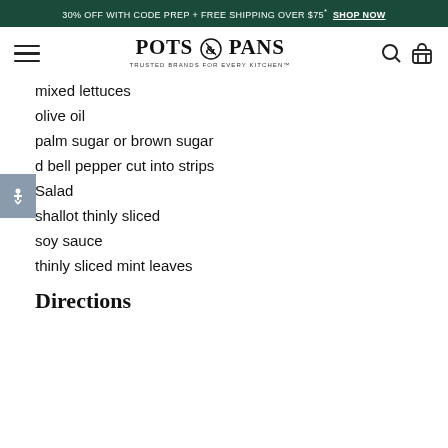30% OFF WITH CODE PREP + FREE SHIPPING OVER $75* SHOP NOW
[Figure (logo): Pots & Pans logo with hamburger menu, search and cart icons. Text: POTS & PANS, TRUSTED BRANDS FOR EVERY KITCHEN]
mixed lettuces
olive oil
palm sugar or brown sugar
d bell pepper cut into strips
Salad
shallot thinly sliced
soy sauce
thinly sliced mint leaves
Directions